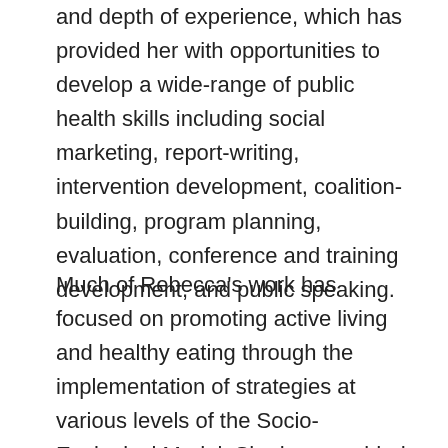and depth of experience, which has provided her with opportunities to develop a wide-range of public health skills including social marketing, report-writing, intervention development, coalition-building, program planning, evaluation, conference and training development, and public speaking.
Much of Rebecca's work has focused on promoting active living and healthy eating through the implementation of strategies at various levels of the Socio-Ecological Model. She has provided statewide leadership on evidence-based physical activity practice; she is an exceptional project manager and team